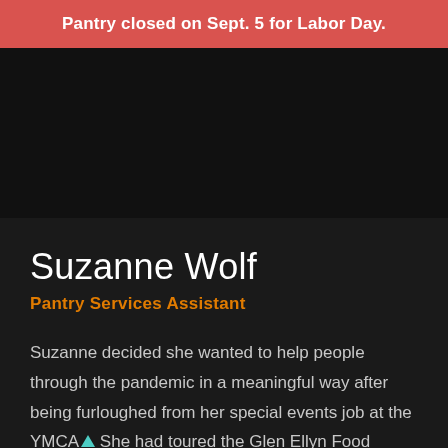Pantry closed on Sept. 5 for Labor Day.
[Figure (photo): Dark black image area, likely a photo of a person (Suzanne Wolf), appears fully black/unloaded]
Suzanne Wolf
Pantry Services Assistant
Suzanne decided she wanted to help people through the pandemic in a meaningful way after being furloughed from her special events job at the YMCA. She had toured the Glen Ellyn Food Pantry with her